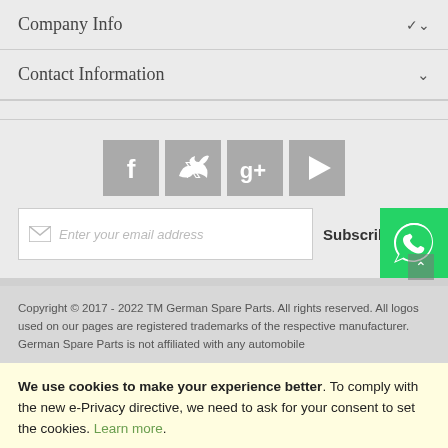Company Info
Contact Information
[Figure (infographic): Social media icons: Facebook, Twitter, Google+, YouTube]
Enter your email address  Subscribe
[Figure (logo): WhatsApp button (green background with WhatsApp logo)]
Copyright © 2017 - 2022 TM German Spare Parts. All rights reserved. All logos used on our pages are registered trademarks of the respective manufacturer. German Spare Parts is not affiliated with any automobile
We use cookies to make your experience better. To comply with the new e-Privacy directive, we need to ask for your consent to set the cookies. Learn more.
Allow Cookies